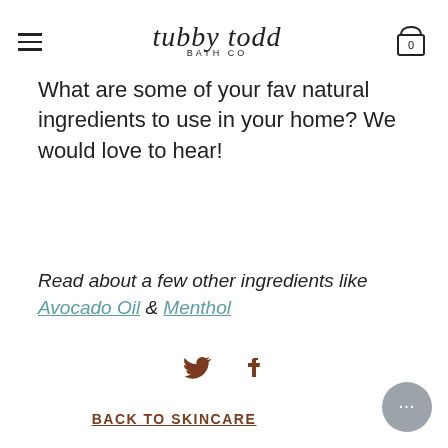tubby todd BATH CO
What are some of your fav natural ingredients to use in your home? We would love to hear!
Read about a few other ingredients like Avocado Oil & Menthol
[Figure (other): Twitter and Facebook social share icons]
BACK TO SKINCARE